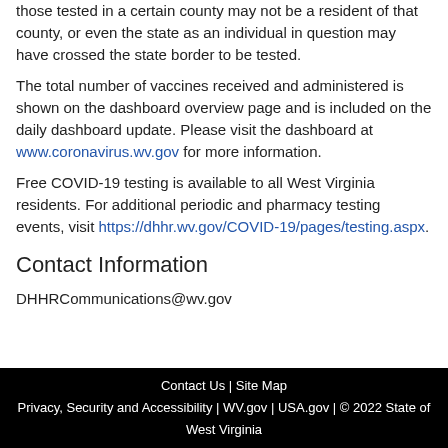those tested in a certain county may not be a resident of that county, or even the state as an individual in question may have crossed the state border to be tested.
The total number of vaccines received and administered is shown on the dashboard overview page and is included on the daily dashboard update. Please visit the dashboard at www.coronavirus.wv.gov for more information.
Free COVID-19 testing is available to all West Virginia residents. For additional periodic and pharmacy testing events, visit https://dhhr.wv.gov/COVID-19/pages/testing.aspx.
Contact Information
DHHRCommunications@wv.gov
Contact Us | Site Map
Privacy, Security and Accessibility | WV.gov | USA.gov | © 2022 State of West Virginia